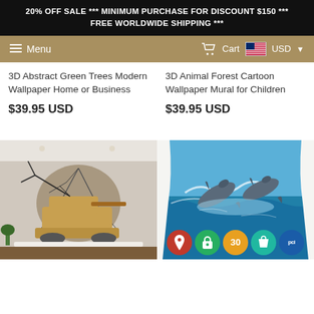20% OFF SALE *** MINIMUM PURCHASE FOR DISCOUNT $150 *** FREE WORLDWIDE SHIPPING ***
Menu  Cart  USD
3D Abstract Green Trees Modern Wallpaper Home or Business
$39.95 USD
3D Animal Forest Cartoon Wallpaper Mural for Children
$39.95 USD
[Figure (photo): 3D wallpaper showing a military tank breaking through a cracked wall with tree branches, displayed in a living room setting]
[Figure (photo): 3D wallpaper showing two dolphins jumping out of ocean water near white curtains]